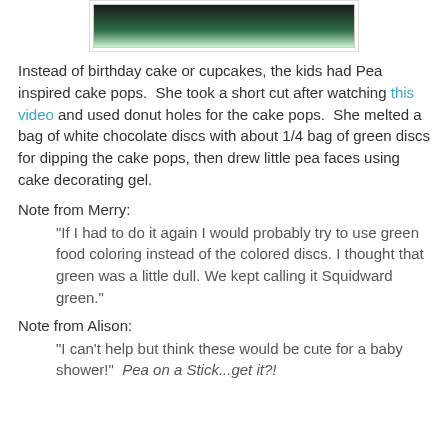[Figure (photo): Partial view of a green pea-themed cake pop or decoration against a dark background with green tones]
Instead of birthday cake or cupcakes, the kids had Pea inspired cake pops.  She took a short cut after watching this video and used donut holes for the cake pops.  She melted a bag of white chocolate discs with about 1/4 bag of green discs for dipping the cake pops, then drew little pea faces using cake decorating gel.
Note from Merry:
"If I had to do it again I would probably try to use green food coloring instead of the colored discs. I thought that green was a little dull. We kept calling it Squidward green."
Note from Alison:
"I can't help but think these would be cute for a baby shower!"  Pea on a Stick...get it?!